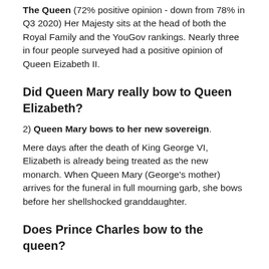The Queen (72% positive opinion - down from 78% in Q3 2020) Her Majesty sits at the head of both the Royal Family and the YouGov rankings. Nearly three in four people surveyed had a positive opinion of Queen Eizabeth II.
Did Queen Mary really bow to Queen Elizabeth?
2) Queen Mary bows to her new sovereign.
Mere days after the death of King George VI, Elizabeth is already being treated as the new monarch. When Queen Mary (George's mother) arrives for the funeral in full mourning garb, she bows before her shellshocked granddaughter.
Does Prince Charles bow to the queen?